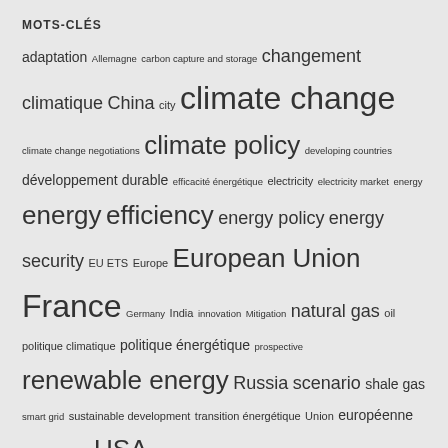MOTS-CLÉS
adaptation Allemagne carbon capture and storage changement climatique China city climate change climate change negotiations climate policy developing countries développement durable efficacité énergétique electricity electricity market energy energy efficiency energy policy energy security EU ETS Europe European Union France Germany India innovation Mitigation natural gas oil politique climatique politique énergétique prospective renewable energy Russia scenario shale gas smart grid sustainable development transition énergétique Union européenne United Kingdom USA ville électricité énergie énergie nucléaire
PLUS
NEW ECONOMICS PAPERS ENERGY ECONOMICS (REPEC)
Carbon Capture: Storage vs. Utilization